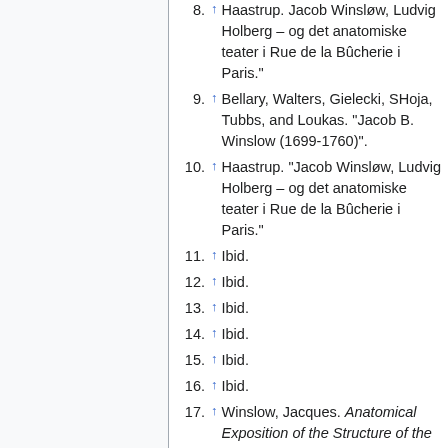8. ↑ Haastrup. Jacob Winsløw, Ludvig Holberg – og det anatomiske teater i Rue de la Bûcherie i Paris."
9. ↑ Bellary, Walters, Gielecki, SHoja, Tubbs, and Loukas. "Jacob B. Winslow (1699-1760)".
10. ↑ Haastrup. "Jacob Winsløw, Ludvig Holberg – og det anatomiske teater i Rue de la Bûcherie i Paris."
11. ↑ Ibid.
12. ↑ Ibid.
13. ↑ Ibid.
14. ↑ Ibid.
15. ↑ Ibid.
16. ↑ Ibid.
17. ↑ Winslow, Jacques. Anatomical Exposition of the Structure of the Human Body. London: A.